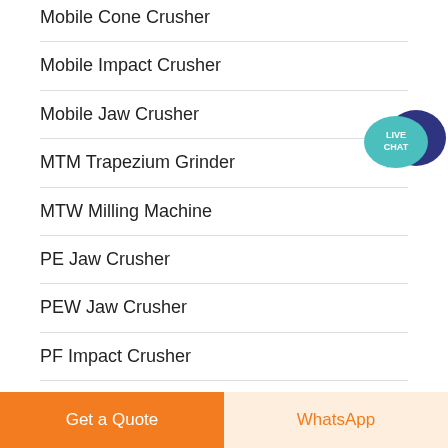Mobile Cone Crusher
Mobile Impact Crusher
Mobile Jaw Crusher
MTM Trapezium Grinder
MTW Milling Machine
PE Jaw Crusher
PEW Jaw Crusher
PF Impact Crusher
PFW Impact Crusher
[Figure (illustration): Live Chat speech bubble icon with teal and dark blue colors and white text 'LIVE CHAT']
Get a Quote
WhatsApp